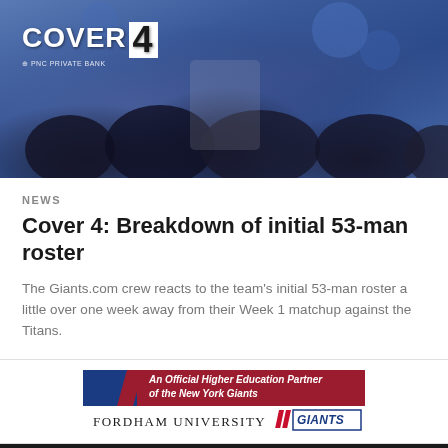[Figure (photo): Sports crowd photo with Cover 4 logo overlay and PNC Private Bank sponsorship text. Blue-toned crowd of football fans in background.]
NEWS
Cover 4: Breakdown of initial 53-man roster
The Giants.com crew reacts to the team's initial 53-man roster a little over one week away from their Week 1 matchup against the Titans.
[Figure (logo): Fordham University - An Official Higher Education Partner of the New York Giants advertisement banner]
CLUB LINKS
[Figure (infographic): Social media share icons: Facebook, Twitter, Email, Link]